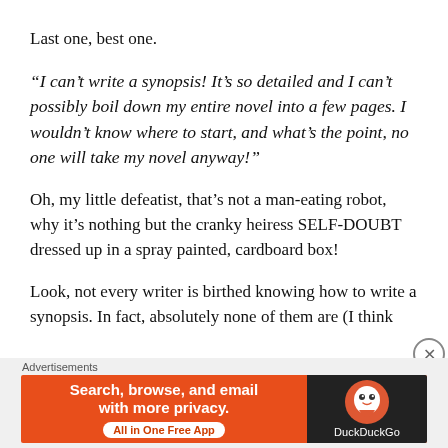Last one, best one.
“I can’t write a synopsis! It’s so detailed and I can’t possibly boil down my entire novel into a few pages. I wouldn’t know where to start, and what’s the point, no one will take my novel anyway!”
Oh, my little defeatist, that’s not a man-eating robot, why it’s nothing but the cranky heiress SELF-DOUBT dressed up in a spray painted, cardboard box!
Look, not every writer is birthed knowing how to write a synopsis. In fact, absolutely none of them are (I think they are, however, birthed with an extra gene carrying the appreciation of ‘old book’ smell and a
[Figure (other): DuckDuckGo advertisement banner: orange background with text 'Search, browse, and email with more privacy. All in One Free App' and DuckDuckGo logo on dark right panel]